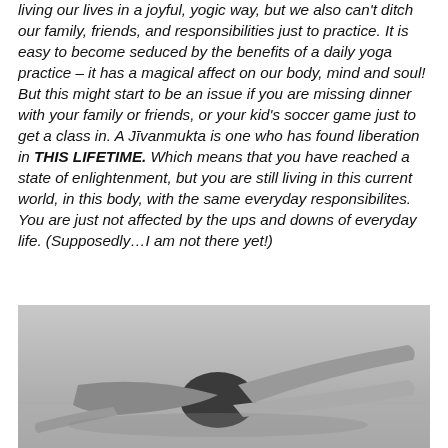living our lives in a joyful, yogic way, but we also can't ditch our family, friends, and responsibilities just to practice. It is easy to become seduced by the benefits of a daily yoga practice – it has a magical affect on our body, mind and soul!  But this might start to be an issue if you are missing dinner with your family or friends, or your kid's soccer game just to get a class in. A Jīvanmukta is one who has found liberation in THIS LIFETIME. Which means that you have reached a state of enlightenment, but you are still living in this current world, in this body, with the same everyday responsibilites. You are just not affected by the ups and downs of everyday life. (Supposedly…I am not there yet!)
[Figure (photo): Black and white photograph of a person performing a yoga pose, lying on their side with legs extended, visible from roughly waist down with arm stretched out.]